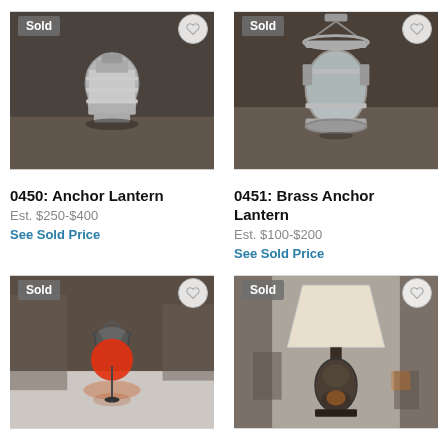[Figure (photo): Industrial anchor lantern, silver/grey metal, in warehouse setting. Sold badge top-left.]
[Figure (photo): Brass anchor lantern with glass globe, hanging hardware, warehouse background. Sold badge top-left.]
0450: Anchor Lantern
Est. $250-$400
See Sold Price
0451: Brass Anchor Lantern
Est. $100-$200
See Sold Price
[Figure (photo): Red railroad lantern with ornate metal frame, glowing red light, on floor. Sold badge top-left.]
[Figure (photo): Table lamp with cream shade, dark ornate base, in antique shop setting. Sold badge top-left.]